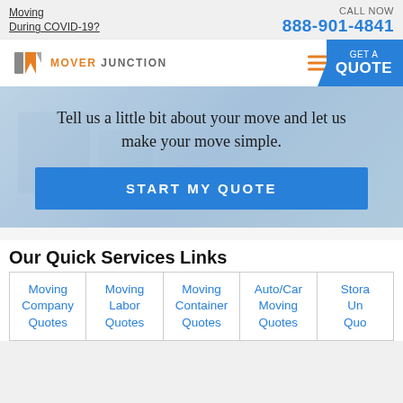Moving During COVID-19?
CALL NOW 888-901-4841
[Figure (logo): Mover Junction logo with stylized M icon in gray/orange and orange MOVER JUNCTION text]
GET A QUOTE
Tell us a little bit about your move and let us make your move simple.
START MY QUOTE
Our Quick Services Links
| Moving Company Quotes | Moving Labor Quotes | Moving Container Quotes | Auto/Car Moving Quotes | Storage/Un Quo... |
| --- | --- | --- | --- | --- |